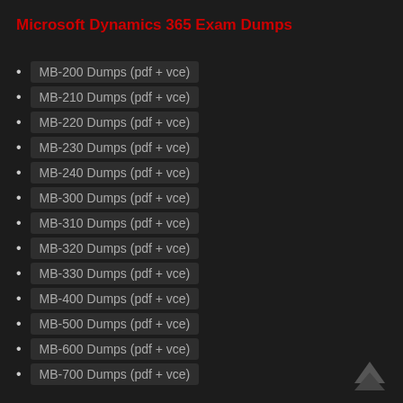Microsoft Dynamics 365 Exam Dumps
MB-200 Dumps (pdf + vce)
MB-210 Dumps (pdf + vce)
MB-220 Dumps (pdf + vce)
MB-230 Dumps (pdf + vce)
MB-240 Dumps (pdf + vce)
MB-300 Dumps (pdf + vce)
MB-310 Dumps (pdf + vce)
MB-320 Dumps (pdf + vce)
MB-330 Dumps (pdf + vce)
MB-400 Dumps (pdf + vce)
MB-500 Dumps (pdf + vce)
MB-600 Dumps (pdf + vce)
MB-700 Dumps (pdf + vce)